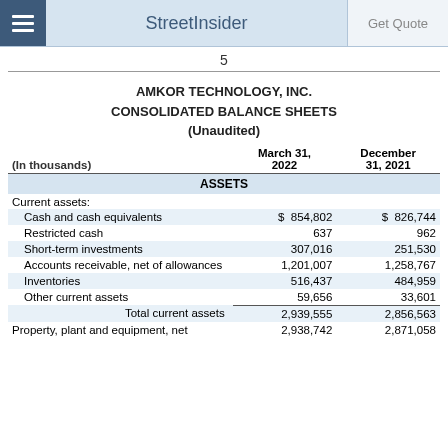StreetInsider | Get Quote
5
AMKOR TECHNOLOGY, INC.
CONSOLIDATED BALANCE SHEETS
(Unaudited)
| (In thousands) | March 31, 2022 | December 31, 2021 |
| --- | --- | --- |
| ASSETS |  |  |
| Current assets: |  |  |
| Cash and cash equivalents | $ 854,802 | $ 826,744 |
| Restricted cash | 637 | 962 |
| Short-term investments | 307,016 | 251,530 |
| Accounts receivable, net of allowances | 1,201,007 | 1,258,767 |
| Inventories | 516,437 | 484,959 |
| Other current assets | 59,656 | 33,601 |
| Total current assets | 2,939,555 | 2,856,563 |
| Property, plant and equipment, net | 2,938,742 | 2,871,058 |